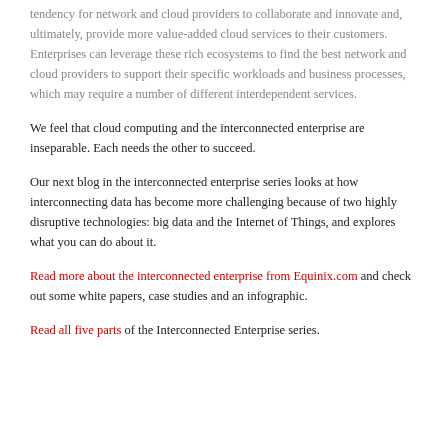tendency for network and cloud providers to collaborate and innovate and, ultimately, provide more value-added cloud services to their customers. Enterprises can leverage these rich ecosystems to find the best network and cloud providers to support their specific workloads and business processes, which may require a number of different interdependent services.
We feel that cloud computing and the interconnected enterprise are inseparable. Each needs the other to succeed.
Our next blog in the interconnected enterprise series looks at how interconnecting data has become more challenging because of two highly disruptive technologies: big data and the Internet of Things, and explores what you can do about it.
Read more about the interconnected enterprise from Equinix.com and check out some white papers, case studies and an infographic.
Read all five parts of the Interconnected Enterprise series.